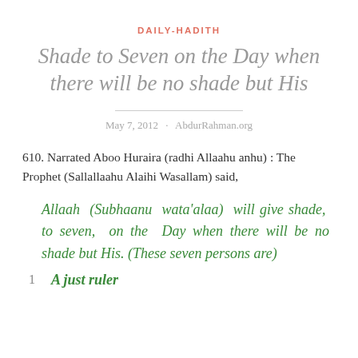DAILY-HADITH
Shade to Seven on the Day when there will be no shade but His
May 7, 2012 · AbdurRahman.org
610. Narrated Aboo Huraira (radhi Allaahu anhu) : The Prophet (Sallallaahu Alaihi Wasallam) said,
Allaah (Subhaanu wata'alaa) will give shade, to seven, on the Day when there will be no shade but His. (These seven persons are)
1  A just ruler